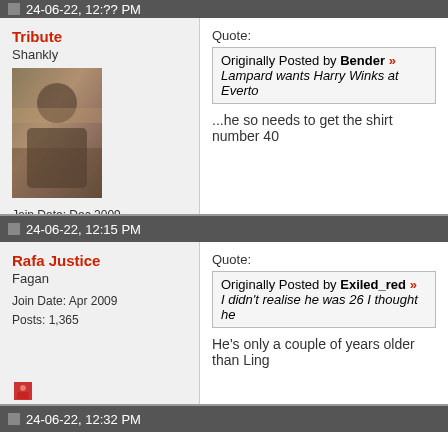24-06-22, 12:?? PM (partial, top cut off)
Tribute
Shankly
Join Date: Dec 2009
Posts: 8,846
Quote:
Originally Posted by Bender »
Lampard wants Harry Winks at Everto...
...he so needs to get the shirt number 40
24-06-22, 12:15 PM
Rafa Justice
Fagan
Join Date: Apr 2009
Posts: 1,365
Quote:
Originally Posted by Exiled_red »
I didn't realise he was 26 I thought he...
He's only a couple of years older than Ling...
24-06-22, 12:32 PM